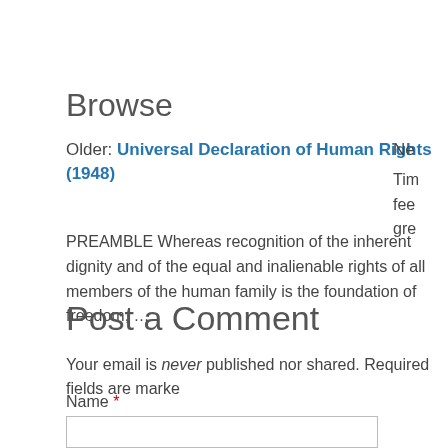Browse
Older: Universal Declaration of Human Rights (1948)
PREAMBLE Whereas recognition of the inherent dignity and of the equal and inalienable rights of all members of the human family is the foundation of freedom, …
Post a Comment
Your email is never published nor shared. Required fields are marke
Name *